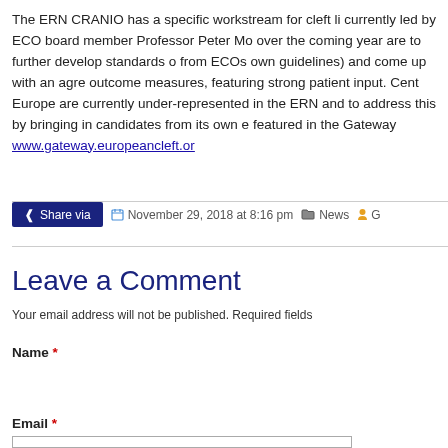The ERN CRANIO has a specific workstream for cleft lip currently led by ECO board member Professor Peter Mo over the coming year are to further develop standards o from ECOs own guidelines) and come up with an agree outcome measures, featuring strong patient input. Centr Europe are currently under-represented in the ERN and to address this by bringing in candidates from its own ex featured in the Gateway www.gateway.europeancleft.org
Share via  November 29, 2018 at 8:16 pm  News  G
Leave a Comment
Your email address will not be published. Required fields
Name *
Email *